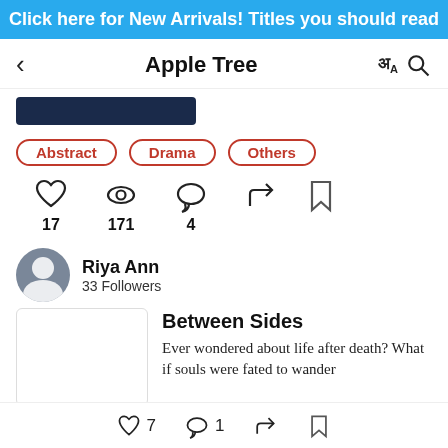Click here for New Arrivals! Titles you should read
Apple Tree
Abstract
Drama
Others
17 (likes) 171 (views) 4 (comments)
Riya Ann
33 Followers
Between Sides
Ever wondered about life after death? What if souls were fated to wander
7 (likes) 1 (comments) share bookmark